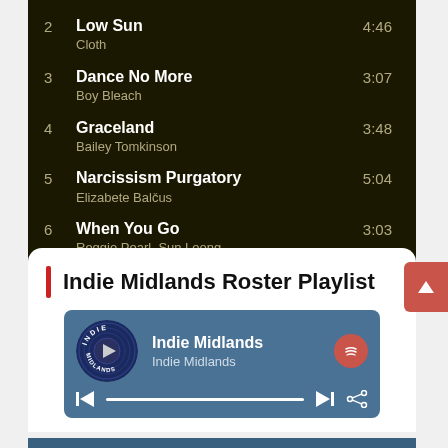2  Low Sun  4:46
Cloth
3  Dance No More  3:07
Boy Bleach
4  Graceland  3:48
Bailey Tomkinson
5  Narcissism Purgatory  5:04
Elizabete Balčus
6  When You Go  3:03
Reggie Pearl, Sun Leong
Indie Midlands Roster Playlist
[Figure (screenshot): Indie Midlands music player widget showing logo, title 'Indie Midlands', subtitle 'Indie Midlands', Spotify icon, playback controls (previous, progress bar, next, share)]